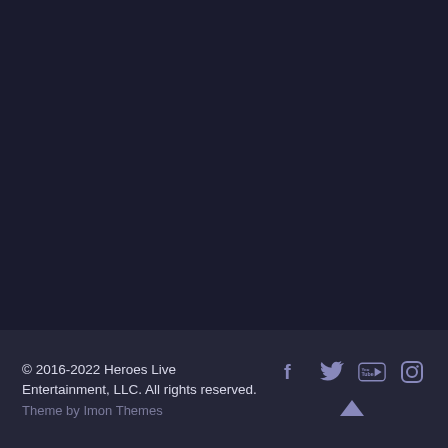© 2016-2022 Heroes Live Entertainment, LLC. All rights reserved.
Theme by Imon Themes